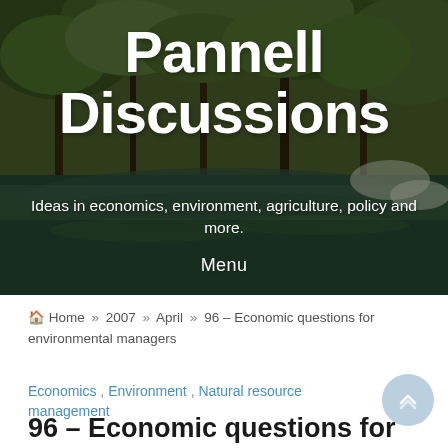[Figure (photo): Forest and river landscape background photo for Pannell Discussions blog header]
Pannell Discussions
Ideas in economics, environment, agriculture, policy and more.
Menu
🏠 Home » 2007 » April » 96 – Economic questions for environmental managers
Economics , Environment , Natural resource management
96 – Economic questions for